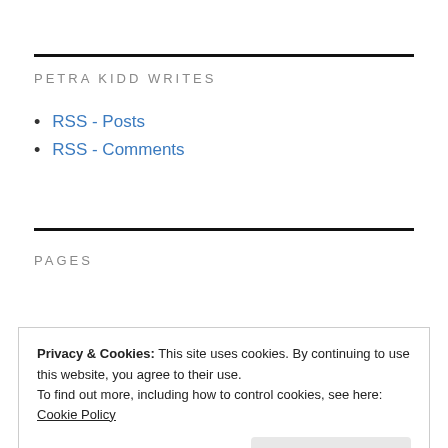PETRA KIDD WRITES
RSS - Posts
RSS - Comments
PAGES
Privacy & Cookies: This site uses cookies. By continuing to use this website, you agree to their use.
To find out more, including how to control cookies, see here: Cookie Policy
Close and accept